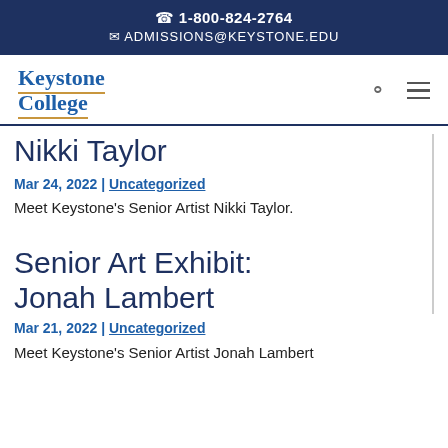1-800-824-2764
ADMISSIONS@KEYSTONE.EDU
[Figure (logo): Keystone College logo with text in blue serif font and orange underline]
Nikki Taylor
Mar 24, 2022 | Uncategorized
Meet Keystone's Senior Artist Nikki Taylor.
Senior Art Exhibit: Jonah Lambert
Mar 21, 2022 | Uncategorized
Meet Keystone's Senior Artist Jonah Lambert